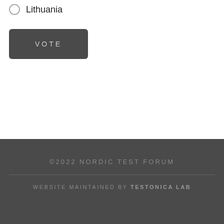Lithuania
VOTE
©2022 NORDIC TEST FORUM
WEBSITE MAINTAINED BY TESTONICA LAB